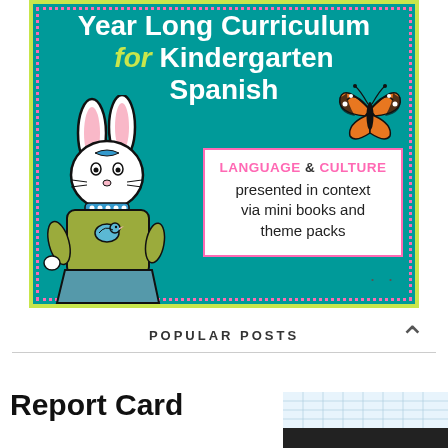[Figure (illustration): Promotional graphic for a Year Long Curriculum for Kindergarten Spanish. Teal background with yellow-green dotted border and pink inner dotted border. Features a cartoon bunny character wearing a dress, a monarch butterfly in the upper right, and a white text box that reads 'LANGUAGE & CULTURE presented in context via mini books and theme packs'. The title at the top reads 'Year Long Curriculum for Kindergarten Spanish'.]
POPULAR POSTS
Report Card